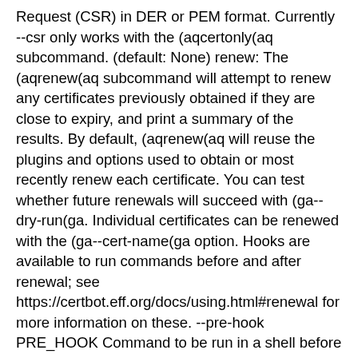Request (CSR) in DER or PEM format. Currently --csr only works with the (aqcertonly(aq subcommand. (default: None) renew: The (aqrenew(aq subcommand will attempt to renew any certificates previously obtained if they are close to expiry, and print a summary of the results. By default, (aqrenew(aq will reuse the plugins and options used to obtain or most recently renew each certificate. You can test whether future renewals will succeed with (ga--dry-run(ga. Individual certificates can be renewed with the (ga--cert-name(ga option. Hooks are available to run commands before and after renewal; see https://certbot.eff.org/docs/using.html#renewal for more information on these. --pre-hook PRE_HOOK Command to be run in a shell before obtaining any certificates. Intended primarily for renewal, where it can be used to temporarily shut down a webserver that might conflict with the standalone plugin. This will only be called if a certificate is actually to be obtained/renewed. When renewing several certificates that have identical pre-hooks, only the first will be executed. (default: None) --post-hook POST_HOOK Command to be run in a shell after attempting to obtain/renew certificates. Can be